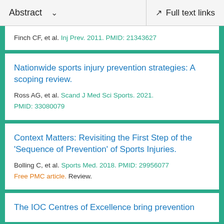Abstract   Full text links
Finch CF, et al. Inj Prev. 2011. PMID: 21343627
Nationwide sports injury prevention strategies: A scoping review.
Ross AG, et al. Scand J Med Sci Sports. 2021. PMID: 33080079
Context Matters: Revisiting the First Step of the 'Sequence of Prevention' of Sports Injuries.
Bolling C, et al. Sports Med. 2018. PMID: 29956077 Free PMC article. Review.
The IOC Centres of Excellence bring prevention